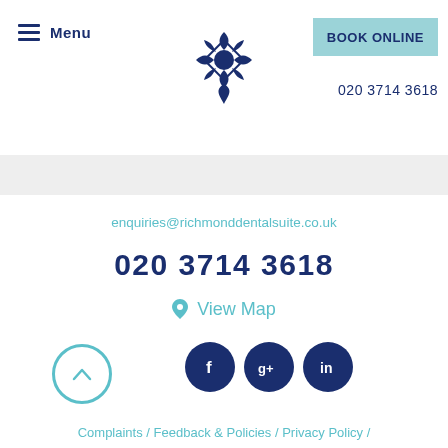Menu | Logo | BOOK ONLINE | 020 3714 3618
enquiries@richmonddentalsuite.co.uk
020 3714 3618
View Map
[Figure (logo): Social media icons: Facebook, Google+, LinkedIn circles and back-to-top button]
Complaints / Feedback & Policies / Privacy Policy /